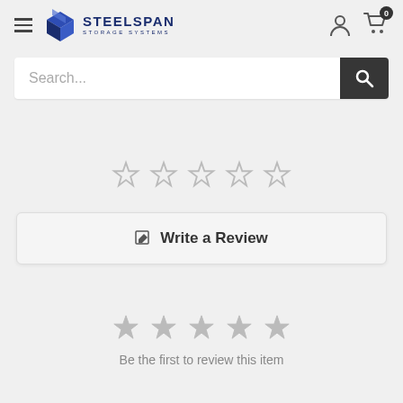STEELSPAN STORAGE SYSTEMS
Search...
[Figure (illustration): Five empty star rating icons (outline style)]
✎ Write a Review
[Figure (illustration): Five gray star rating icons (filled gray style)]
Be the first to review this item